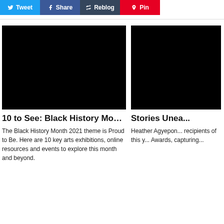[Figure (other): Social sharing buttons: Tweet (blue), Share (dark blue), Reblog (dark), Pin (red)]
[Figure (photo): Black image placeholder for '10 to See: Black History Month 2021' article]
10 to See: Black History Month 2021
The Black History Month 2021 theme is Proud to Be. Here are 10 key arts exhibitions, online resources and events to explore this month and beyond.
[Figure (photo): Black image placeholder for 'Stories Unea...' article (partially visible)]
Stories Unea...
Heather Agyepon... recipients of this y... Awards, capturing...